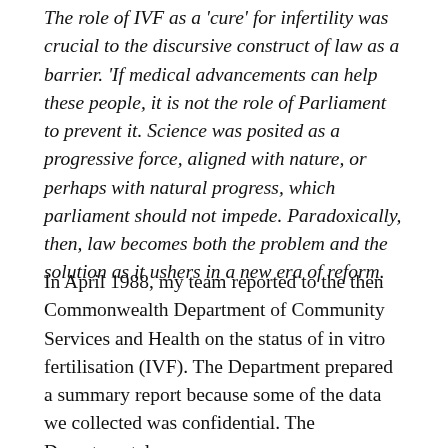The role of IVF as a 'cure' for infertility was crucial to the discursive construct of law as a barrier. 'If medical advancements can help these people, it is not the role of Parliament to prevent it. Science was posited as a progressive force, aligned with nature, or perhaps with natural progress, which parliament should not impede. Paradoxically, then, law becomes both the problem and the solution as it ushers in a new era of reform.
In April 1988, my team reported to the then Commonwealth Department of Community Services and Health on the status of in vitro fertilisation (IVF). The Department prepared a summary report because some of the data we collected was confidential. The Departmental